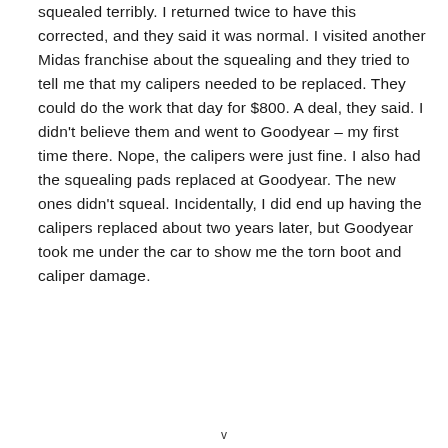squealed terribly. I returned twice to have this corrected, and they said it was normal. I visited another Midas franchise about the squealing and they tried to tell me that my calipers needed to be replaced. They could do the work that day for $800. A deal, they said. I didn't believe them and went to Goodyear – my first time there. Nope, the calipers were just fine. I also had the squealing pads replaced at Goodyear. The new ones didn't squeal. Incidentally, I did end up having the calipers replaced about two years later, but Goodyear took me under the car to show me the torn boot and caliper damage.
v